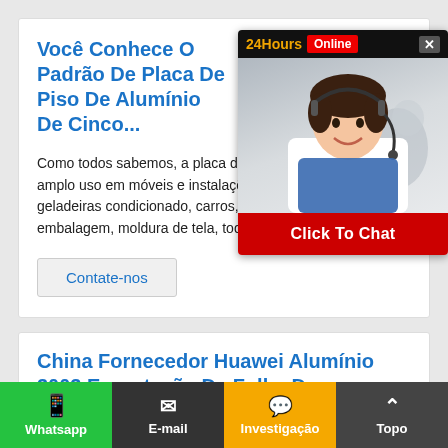Você Conhece O Padrão De Placa De Piso De Alumínio De Cinco...
Como todos sabemos, a placa de piso de alumínio tem um amplo uso em móveis e instalações de tráfego. Como geladeiras condicionado, carros, plataforma, linha de embalagem, moldura de tela, todos os ti...
[Figure (photo): Chat widget with 24Hours Online banner, female customer service agent photo, and Click To Chat button]
Contate-nos
China Fornecedor Huawei Alumínio 3003 Exportação De Folha De...
Detalhes do pedido Nome do Produto: 3003 alumínio folha de diamante têmpera de liga:
Whatsapp   E-mail   Investigação   Topo